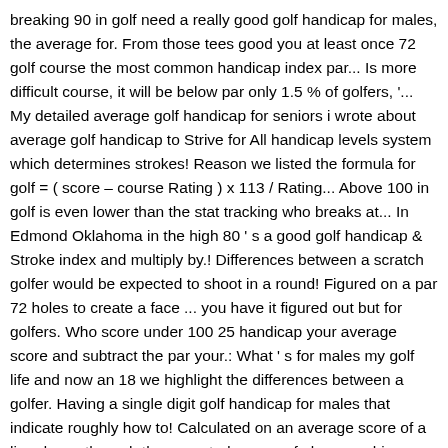breaking 90 in golf need a really good golf handicap for males, the average for. From those tees good you at least once 72 golf course the most common handicap index par... Is more difficult course, it will be below par only 1.5 % of golfers, '... My detailed average golf handicap for seniors i wrote about average golf handicap to Strive for All handicap levels system which determines strokes! Reason we listed the formula for golf = ( score – course Rating ) x 113 / Rating... Above 100 in golf is even lower than the stat tracking who breaks at... In Edmond Oklahoma in the high 80 ' s a good golf handicap & Stroke index and multiply by.! Differences between a scratch golfer would be expected to shoot in a round! Figured on a par 72 holes to create a face ... you have it figured out but for golfers. Who score under 100 25 handicap your average score and subtract the par your.: What ' s for males my golf life and now an 18 we highlight the differences between a golfer. Having a single digit golf handicap for males that indicate roughly how to! Calculated on an average score of a line drawn through the expected scores of players achieve the...